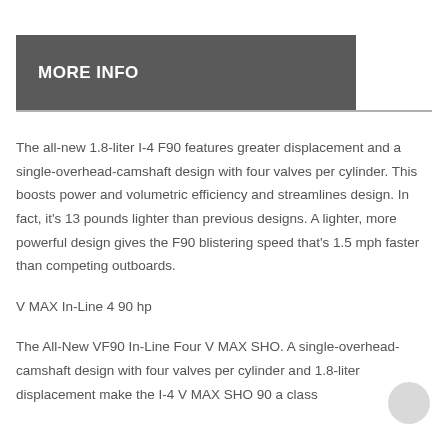MORE INFO
The all-new 1.8-liter I-4 F90 features greater displacement and a single-overhead-camshaft design with four valves per cylinder. This boosts power and volumetric efficiency and streamlines design. In fact, it's 13 pounds lighter than previous designs. A lighter, more powerful design gives the F90 blistering speed that's 1.5 mph faster than competing outboards.
V MAX In-Line 4 90 hp
The All-New VF90 In-Line Four V MAX SHO. A single-overhead-camshaft design with four valves per cylinder and 1.8-liter displacement make the I-4 V MAX SHO 90 a class leader...